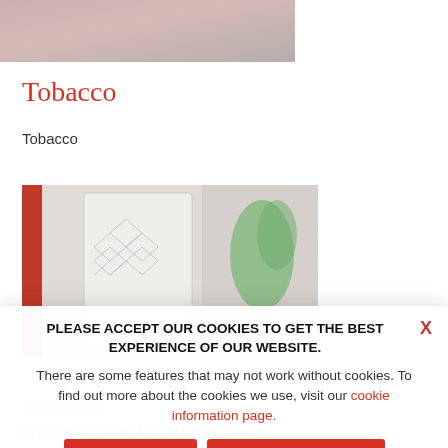[Figure (photo): Blurred/cropped top image strip showing muted pinkish-tan tones, partial product shot]
Tobacco
Tobacco
[Figure (photo): Photo of white cylindrical roll/tube with diamond lattice pattern, red background on left, blurred green plant on right]
PLEASE ACCEPT OUR COOKIES TO GET THE BEST EXPERIENCE OF OUR WEBSITE.
There are some features that may not work without cookies. To find out more about the cookies we use, visit our cookie information page.
Towel & Issue
Sun Chemical manufactures flexo ink...